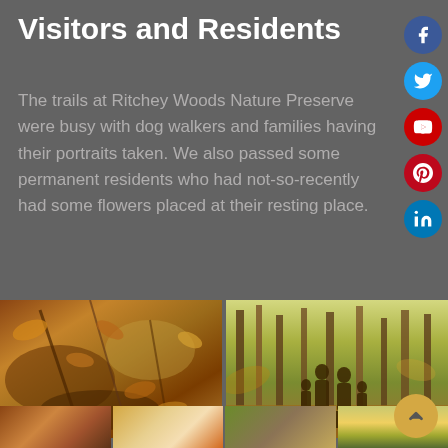Visitors and Residents
The trails at Ritchey Woods Nature Preserve were busy with dog walkers and families having their portraits taken. We also passed some permanent residents who had not-so-recently had some flowers placed at their resting place.
[Figure (photo): Close-up photo of autumn leaves and branches covering the forest floor]
[Figure (photo): Family of four (two adults, two children) seen from behind walking through a wooded forest trail with autumn foliage]
[Figure (photo): Bottom strip row of partial photos showing autumn forest scenes]